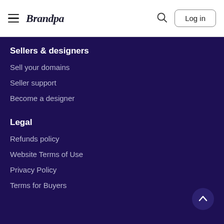Brandpa | Log in
Sellers & designers
Sell your domains
Seller support
Become a designer
Legal
Refunds policy
Website Terms of Use
Privacy Policy
Terms for Buyers